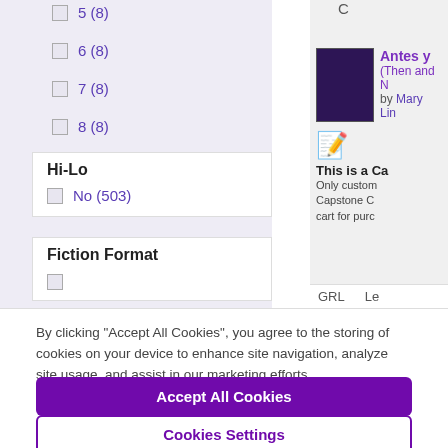5 (8)
6 (8)
7 (8)
8 (8)
Hi-Lo
No (503)
Fiction Format
C
Antes y...
(Then and...
by Mary Lin...
This is a Ca...
Only custom... Capstone C... cart for purc...
GRL   Le
By clicking “Accept All Cookies”, you agree to the storing of cookies on your device to enhance site navigation, analyze site usage, and assist in our marketing efforts.
Accept All Cookies
Cookies Settings